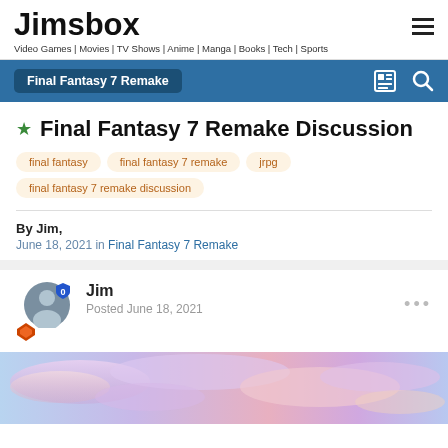Jimsbox — Video Games | Movies | TV Shows | Anime | Manga | Books | Tech | Sports
Final Fantasy 7 Remake
Final Fantasy 7 Remake Discussion
final fantasy
final fantasy 7 remake
jrpg
final fantasy 7 remake discussion
By Jim,
June 18, 2021 in Final Fantasy 7 Remake
Jim
Posted June 18, 2021
[Figure (photo): Sky with purple and pink clouds at dusk or dawn]